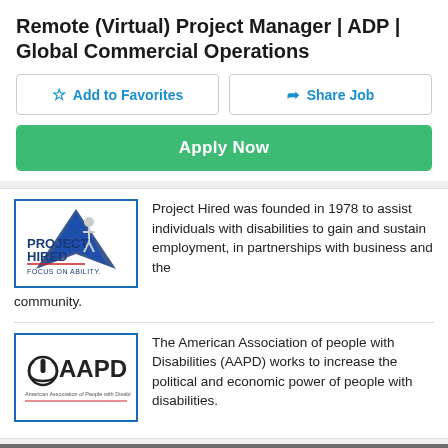Remote (Virtual) Project Manager | ADP | Global Commercial Operations
Add to Favorites
Share Job
Apply Now
[Figure (logo): Project Hired logo with text 'PROJECT HIRED FOCUS ON ABILITY' and a blue star/person graphic]
Project Hired was founded in 1978 to assist individuals with disabilities to gain and sustain employment, in partnerships with business and the community.
[Figure (logo): AAPD logo with power button icon and text 'AAPD American Association of People with Disabilities']
The American Association of people with Disabilities (AAPD) works to increase the political and economic power of people with disabilities.
CAREER RESOURCES